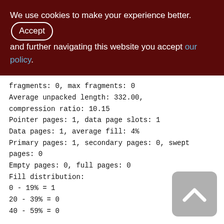We use cookies to make your experience better. By accepting and further navigating this website you accept our policy.
fragments: 0, max fragments: 0
Average unpacked length: 332.00, compression ratio: 10.15
Pointer pages: 1, data page slots: 1
Data pages: 1, average fill: 4%
Primary pages: 1, secondary pages: 0, swept pages: 0
Empty pages: 0, full pages: 0
Fill distribution:
0 - 19% = 1
20 - 39% = 0
40 - 59% = 0